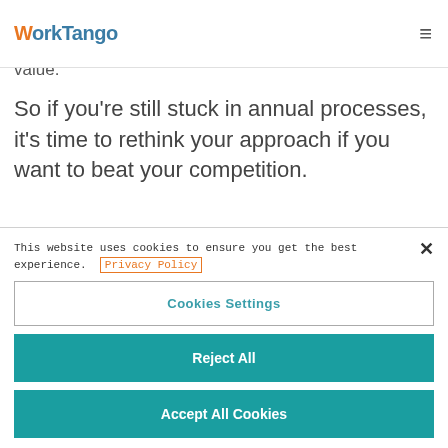WorkTango
value.
So if you're still stuck in annual processes, it's time to rethink your approach if you want to beat your competition.
This website uses cookies to ensure you get the best experience. Privacy Policy
Cookies Settings
Reject All
Accept All Cookies